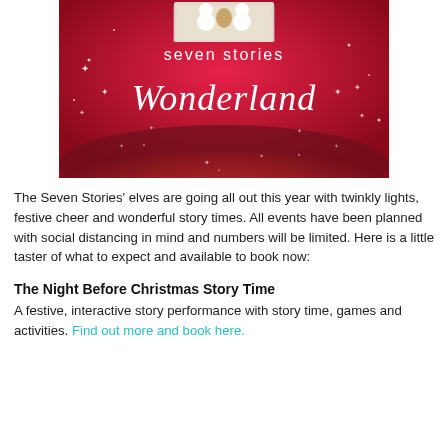[Figure (illustration): Seven Stories Wonderland promotional banner — red glittery background with snowmen and a book at the top, white script text reading 'seven stories' and 'Wonderland' in decorative lettering, with sparkle/star decorations.]
The Seven Stories' elves are going all out this year with twinkly lights, festive cheer and wonderful story times. All events have been planned with social distancing in mind and numbers will be limited. Here is a little taster of what to expect and available to book now:
The Night Before Christmas Story Time
A festive, interactive story performance with story time, games and activities. Find out more and book here.